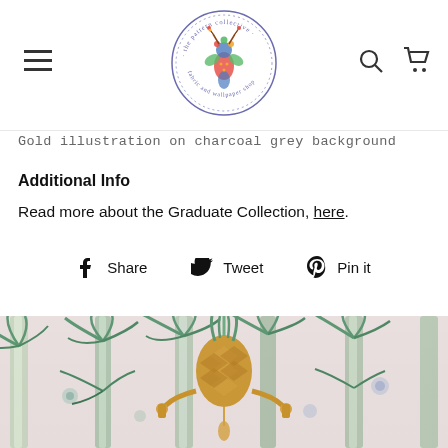[Figure (logo): The Pattern Collective logo - circular badge with folk art deer illustration, text reading 'the pattern collective fabric and wallpaper shop']
Gold illustration on charcoal grey background
Additional Info
Read more about the Graduate Collection, here.
f Share   Tweet   Pin it
[Figure (photo): Tropical wallpaper scene with palm trees in teal/green tones on pink background, featuring a gold pineapple chandelier in the center]